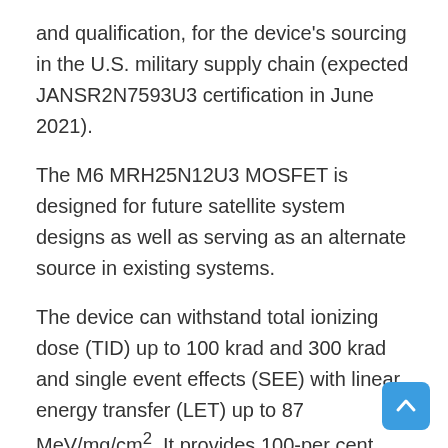and qualification, for the device's sourcing in the U.S. military supply chain (expected JANSR2N7593U3 certification in June 2021).
The M6 MRH25N12U3 MOSFET is designed for future satellite system designs as well as serving as an alternate source in existing systems.
The device can withstand total ionizing dose (TID) up to 100 krad and 300 krad and single event effects (SEE) with linear energy transfer (LET) up to 87 MeV/mg/cm². It provides 100-per cent wafer lot radiation hardness assurance in validation tests.
“Microchip’s entry into the radiation-hardened MOSFET market reflects our long-term commitment